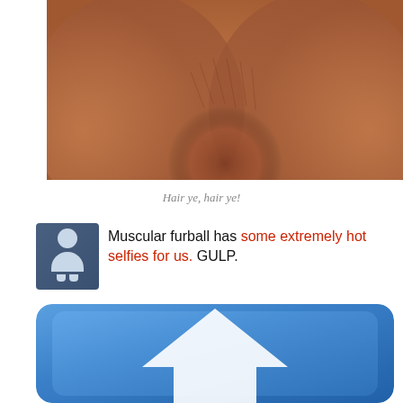[Figure (photo): Close-up photo of a muscular hairy torso/chest area with warm brown skin tones]
Hair ye, hair ye!
Muscular furball has some extremely hot selfies for us. GULP.
[Figure (illustration): Blue rounded square icon with a white upward-pointing arrow/upload symbol, blurred/zoomed in]